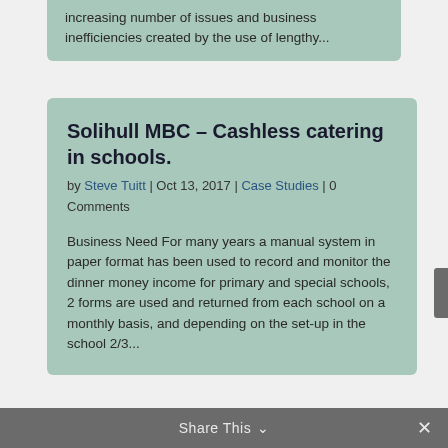increasing number of issues and business inefficiencies created by the use of lengthy...
Solihull MBC – Cashless catering in schools.
by Steve Tuitt | Oct 13, 2017 | Case Studies | 0 Comments
Business Need For many years a manual system in paper format has been used to record and monitor the dinner money income for primary and special schools, 2 forms are used and returned from each school on a monthly basis, and depending on the set-up in the school 2/3...
Share This ⌄  ✕